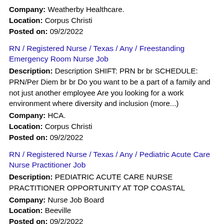Company: Weatherby Healthcare.
Location: Corpus Christi
Posted on: 09/2/2022
RN / Registered Nurse / Texas / Any / Freestanding Emergency Room Nurse Job
Description: Description SHIFT: PRN br br SCHEDULE: PRN/Per Diem br br Do you want to be a part of a family and not just another employee Are you looking for a work environment where diversity and inclusion (more...)
Company: HCA.
Location: Corpus Christi
Posted on: 09/2/2022
RN / Registered Nurse / Texas / Any / Pediatric Acute Care Nurse Practitioner Job
Description: PEDIATRIC ACUTE CARE NURSE PRACTITIONER OPPORTUNITY AT TOP COASTAL
Company: Nurse Job Board
Location: Beeville
Posted on: 09/2/2022
OR Travel Nurse
Description: Since 2001, we've helped therapists travel the country